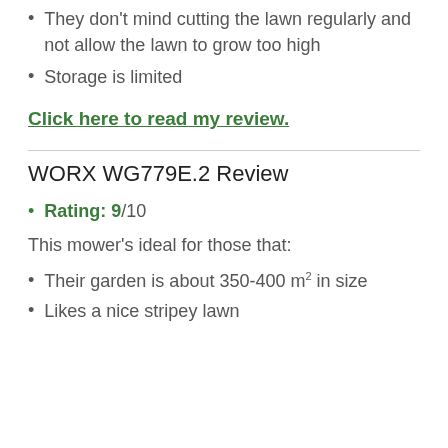They don't mind cutting the lawn regularly and not allow the lawn to grow too high
Storage is limited
Click here to read my review.
WORX WG779E.2 Review
Rating: 9/10
This mower's ideal for those that:
Their garden is about 350-400 m² in size
Likes a nice stripey lawn